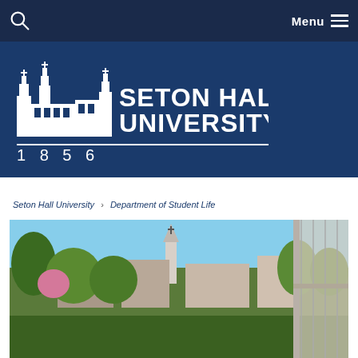Menu
[Figure (logo): Seton Hall University logo with building illustration and text 'SETON HALL UNIVERSITY 1856' on a dark blue background]
Seton Hall University > Department of Student Life
[Figure (photo): Campus photo showing a view from a balcony or elevated walkway overlooking Seton Hall University campus with trees, a church steeple, and buildings in spring]